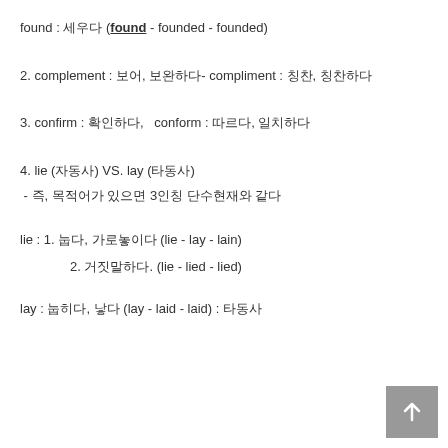found : 세우다 (found - founded - founded)
2. complement : 보어, 보완하다- compliment : 칭찬, 칭찬하다
3. confirm : 확인하다,   conform : 따르다, 일치하다
4. lie (자동사) VS. lay (타동사)
- 즉, 목적어가 있으면 3인칭 단수현재와 같다
lie : 1. 눕다, 가로놓이다 (lie - lay - lain)
2. 거짓말하다. (lie - lied - lied)
lay : 눕히다, 낳다 (lay - laid - laid) : 타동사